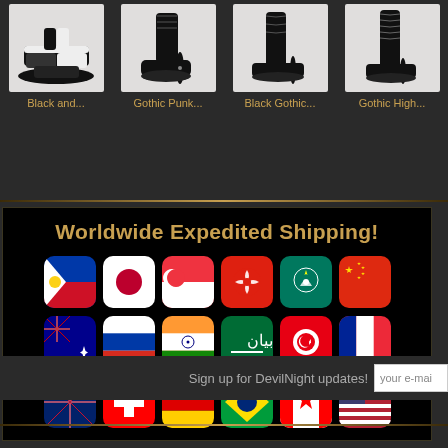[Figure (photo): Four product images of Gothic shoes/boots in a row]
Black and...
Gothic Punk...
Black Gothic...
Gothic High...
[Figure (infographic): Worldwide Expedited Shipping banner with 18 country flag icons arranged in 3 rows]
Sign up for DevilNight updates!
your e-mai